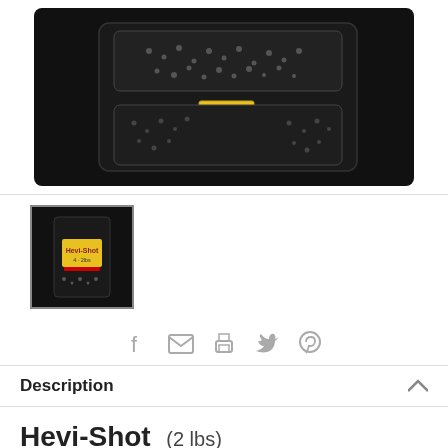[Figure (photo): Main product photo of Hevi-Shot 2 lbs package on black background, showing small metallic pellets in a clear plastic blister pack]
[Figure (photo): Thumbnail image of Hevi-Shot product package with yellow label on dark background]
Social share icons: Facebook, Email, Print, Twitter, Pinterest
Description
Hevi-Shot   (2 lbs)
Hevi-Shot is a non-toxic alternative to steel.
History: Hevi-Shot is an approved non-toxic...